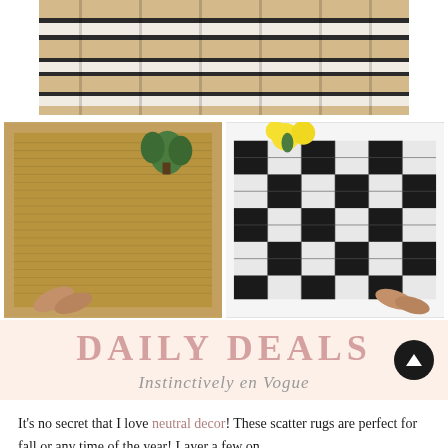[Figure (photo): Close-up of a beige and black plaid/tartan woven rug texture]
[Figure (photo): Two scatter rugs side by side: left is a natural jute/seagrass rug with a plant and shoes, right is a black and white buffalo check plaid rug with yellow flowers and shoes]
DAILY DEALS
Instinctively en Vogue
It's no secret that I love neutral decor! These scatter rugs are perfect for fall or any time of the year! Layer a few on